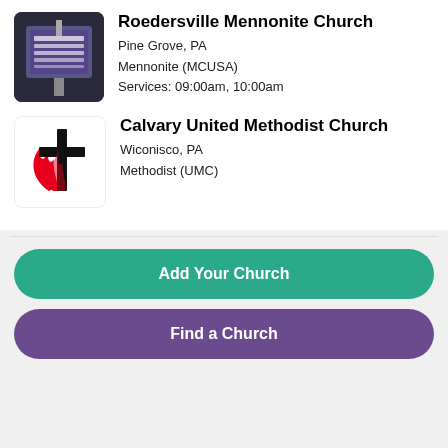[Figure (photo): Church sign for Roedersville Mennonite Church, dark background with sign post]
Roedersville Mennonite Church
Pine Grove, PA
Mennonite (MCUSA)
Services: 09:00am, 10:00am
[Figure (logo): United Methodist Church cross and flame logo, red flame with black cross]
Calvary United Methodist Church
Wiconisco, PA
Methodist (UMC)
Add Your Church
Find a Church